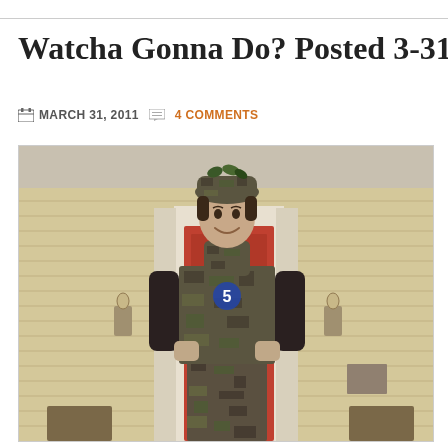Watcha Gonna Do? Posted 3-31-11
MARCH 31, 2011   4 COMMENTS
[Figure (photo): A young man standing on a house porch wearing full camouflage outfit — camouflage hat with leaves, camouflage neck gaiter, camouflage vest with number 5 jersey underneath, camouflage pants. He is smiling. The house has yellow siding and wall-mounted lantern lights on either side of the door.]